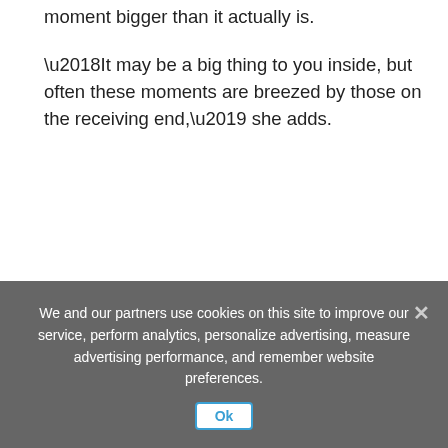moment bigger than it actually is.
‘It may be a big thing to you inside, but often these moments are breezed by those on the receiving end,’ she adds.
How to ask for what you need at work
In a professional setting, people often worry that asking for what you need will land you with the label of demanding, bossy, or worse incompetent.
We and our partners use cookies on this site to improve our service, perform analytics, personalize advertising, measure advertising performance, and remember website preferences.